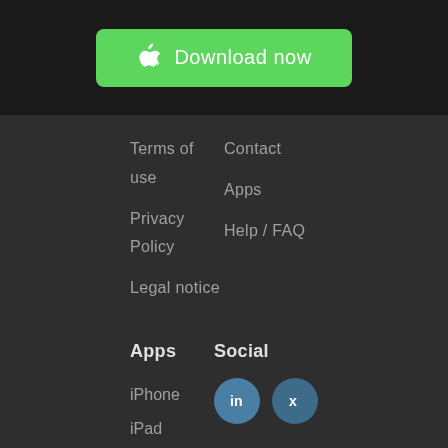[Figure (other): Green Download now button with Apple logo icon on dark background]
Terms of use
Privacy Policy
Legal notice
Contact
Apps
Help / FAQ
Apps
iPhone
iPad
Android
Social
[Figure (logo): LinkedIn and XING social media circular icons]
🇬🇧 UK